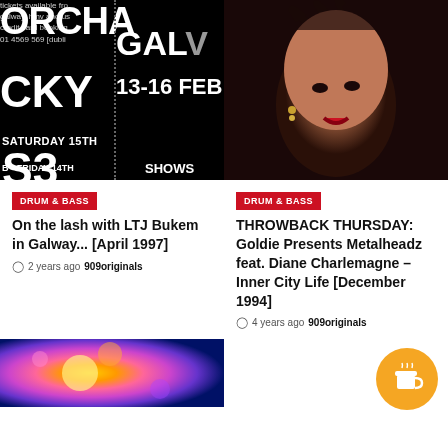[Figure (photo): Concert poster on black background with text: ORCHA, GAL, CKY, 13-16 FEB, SATURDAY 15TH, S3, FRIDAY 14TH, tickets available from galway hmv and us, credit card booking 01 4569 569 [dubli, SHOWS]
[Figure (photo): Sepia-toned portrait photo of a woman with curly hair, red lips, and earrings - Diane Charlemagne]
DRUM & BASS
DRUM & BASS
On the lash with LTJ Bukem in Galway... [April 1997]
THROWBACK THURSDAY: Goldie Presents Metalheadz feat. Diane Charlemagne – Inner City Life [December 1994]
2 years ago  909originals
4 years ago  909originals
[Figure (photo): Colorful abstract/galaxy image with pink, purple, orange and blue hues]
[Figure (illustration): Orange circle button with coffee cup icon (Buy Me a Coffee button)]